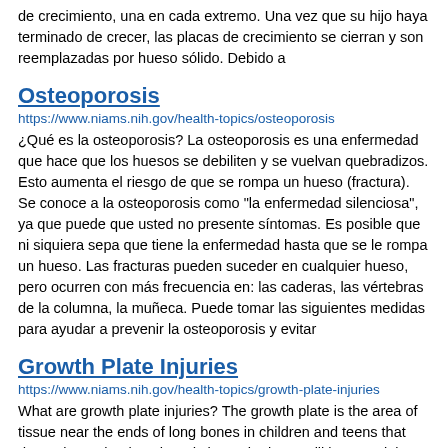de crecimiento, una en cada extremo. Una vez que su hijo haya terminado de crecer, las placas de crecimiento se cierran y son reemplazadas por hueso sólido. Debido a
Osteoporosis
https://www.niams.nih.gov/health-topics/osteoporosis
¿Qué es la osteoporosis? La osteoporosis es una enfermedad que hace que los huesos se debiliten y se vuelvan quebradizos. Esto aumenta el riesgo de que se rompa un hueso (fractura). Se conoce a la osteoporosis como "la enfermedad silenciosa", ya que puede que usted no presente síntomas. Es posible que ni siquiera sepa que tiene la enfermedad hasta que se le rompa un hueso. Las fracturas pueden suceder en cualquier hueso, pero ocurren con más frecuencia en: las caderas, las vértebras de la columna, la muñeca. Puede tomar las siguientes medidas para ayudar a prevenir la osteoporosis y evitar
Growth Plate Injuries
https://www.niams.nih.gov/health-topics/growth-plate-injuries
What are growth plate injuries? The growth plate is the area of tissue near the ends of long bones in children and teens that determines what length and shape the bone will be once it is done growing. Each long bone— the thigh bone, the bones in the